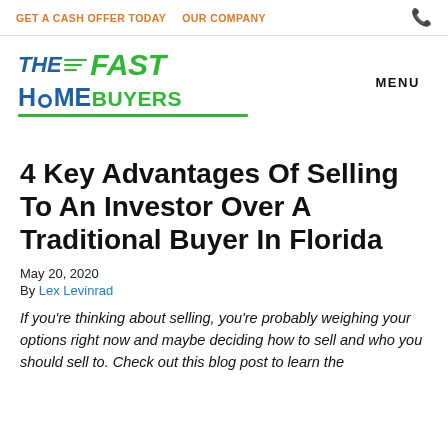GET A CASH OFFER TODAY   OUR COMPANY
[Figure (logo): The Fast Home Buyers logo with blue and green text and green speed lines]
4 Key Advantages Of Selling To An Investor Over A Traditional Buyer In Florida
May 20, 2020
By Lex Levinrad
If you're thinking about selling, you're probably weighing your options right now and maybe deciding how to sell and who you should sell to. Check out this blog post to learn the